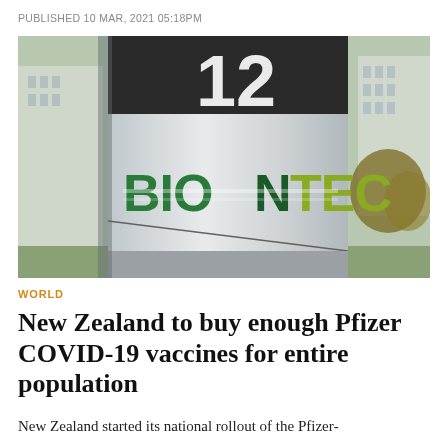PUBLISHED 10 MAR, 2021 05:18PM
[Figure (photo): Close-up photo of a BioNTech company sign/pillar with the green BioNTech logo, building and trees visible in background]
WORLD
New Zealand to buy enough Pfizer COVID-19 vaccines for entire population
New Zealand started its national rollout of the Pfizer-